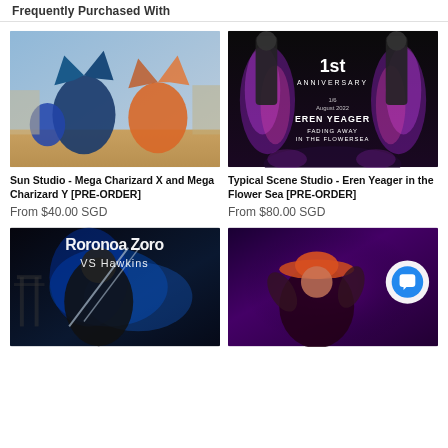Frequently Purchased With
[Figure (photo): Sun Studio Mega Charizard X (blue) and Mega Charizard Y (orange) figurines posed on a stone wall with blue sky background]
[Figure (photo): Typical Scene Studio Eren Yeager in the Flower Sea figure with 1st Anniversary text on dark background with colorful flame/flower effects]
Sun Studio - Mega Charizard X and Mega Charizard Y [PRE-ORDER]
Typical Scene Studio - Eren Yeager in the Flower Sea [PRE-ORDER]
From $40.00 SGD
From $80.00 SGD
[Figure (photo): Roronoa Zoro vs Hawkins anime figure diorama with blue hair and dramatic pose on dark background]
[Figure (photo): Luffy figure in red outfit with wide-brim hat on purple/red lit background with chat bubble overlay icon]